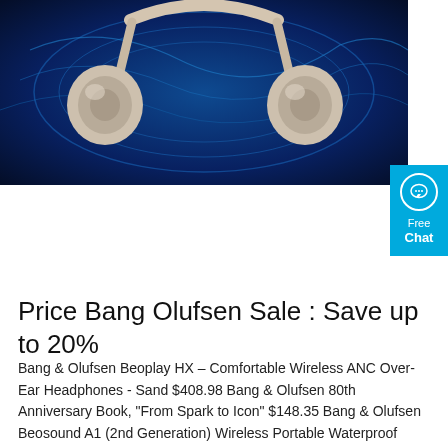[Figure (photo): Bang & Olufsen Beoplay HX over-ear headphones in sand/beige color displayed against a vivid blue abstract background with light wave patterns. The headphones are shown from the front, hanging or suspended, with ear cups clearly visible.]
Price Bang Olufsen Sale : Save up to 20%
Bang & Olufsen Beoplay HX – Comfortable Wireless ANC Over-Ear Headphones - Sand $408.98 Bang & Olufsen 80th Anniversary Book, "From Spark to Icon" $148.35 Bang & Olufsen Beosound A1 (2nd Generation) Wireless Portable Waterproof Bluetooth Speaker